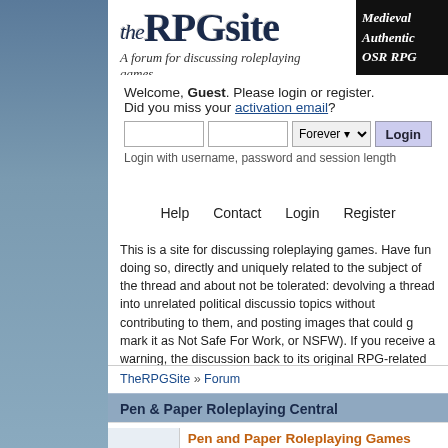theRPGsite — A forum for discussing roleplaying games.
[Figure (illustration): Advertisement banner: Medieval Authentic OSR RPG]
Welcome, Guest. Please login or register. Did you miss your activation email?
[Login form: username field, password field, Forever dropdown, Login button]
Login with username, password and session length
Help   Contact   Login   Register
This is a site for discussing roleplaying games. Have fun doing so, directly and uniquely related to the subject of the thread and about not be tolerated: devolving a thread into unrelated political discussion topics without contributing to them, and posting images that could g mark it as Not Safe For Work, or NSFW). If you receive a warning, the discussion back to its original RPG-related theme.
TheRPGSite » Forum
Pen & Paper Roleplaying Central
Pen and Paper Roleplaying Games (RPGs) Discus